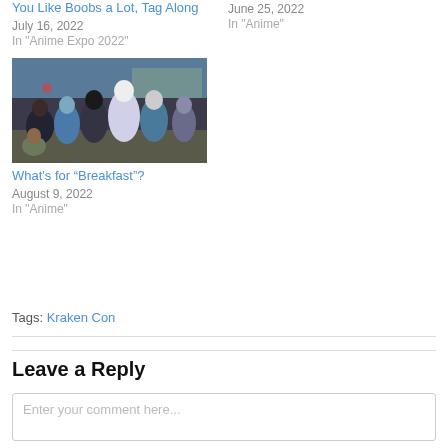You Like Boobs a Lot, Tag Along
July 16, 2022
In "Anime Expo 2022"
June 25, 2022
In "Anime"
[Figure (photo): Group of anime characters standing together outdoors near a building]
What's for “Breakfast”?
August 9, 2022
In "Anime"
Tags: Kraken Con
Leave a Reply
Enter your comment here...